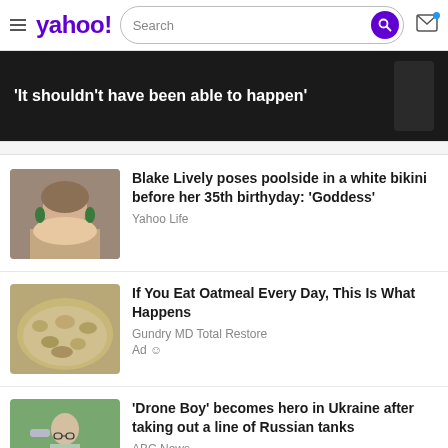yahoo! Search
[Figure (screenshot): Yahoo news banner with text: 'It shouldn't have been able to happen']
[Figure (photo): Photo of Blake Lively at a red carpet event with green earrings]
Blake Lively poses poolside in a white bikini before her 35th birthyday: 'Goddess'
Yahoo Life
[Figure (photo): Photo of oatmeal in a bowl]
If You Eat Oatmeal Every Day, This Is What Happens
Gundry MD Total Restore
Ad
[Figure (photo): Photo of a young boy looking down, sitting outdoors]
'Drone Boy' becomes hero in Ukraine after taking out a line of Russian tanks
ABC News